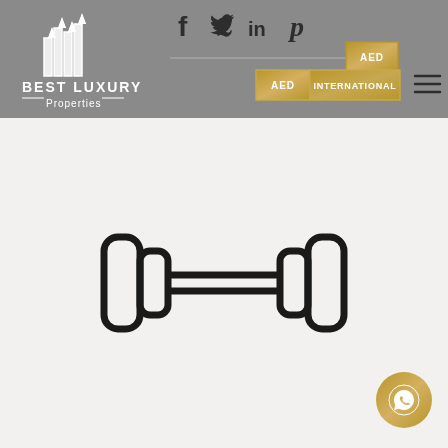[Figure (logo): Best Luxury Properties logo with building icon and text]
[Figure (infographic): Navigation bar with social icons (Facebook, Twitter, LinkedIn, Pinterest), AED and INTERNATIONAL currency buttons, and hamburger menu]
[Figure (illustration): Dumbbell/gym weights icon outline on light grey background]
[Figure (illustration): WhatsApp chat button (gold circle with phone icon) in bottom right corner]